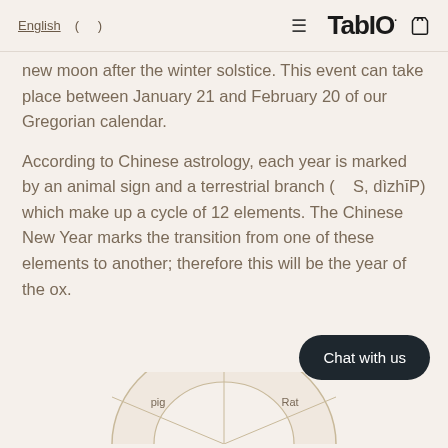English ( ) [hamburger menu] TabIO [bag icon]
new moon after the winter solstice. This event can take place between January 21 and February 20 of our Gregorian calendar.
According to Chinese astrology, each year is marked by an animal sign and a terrestrial branch (    S, dìzhī​P) which make up a cycle of 12 elements. The Chinese New Year marks the transition from one of these elements to another; therefore this will be the year of the ox.
[Figure (other): Chat with us button (dark rounded pill button)]
[Figure (other): Partial circular zodiac wheel showing 'pig' and 'Rat' segments at the bottom of the page]